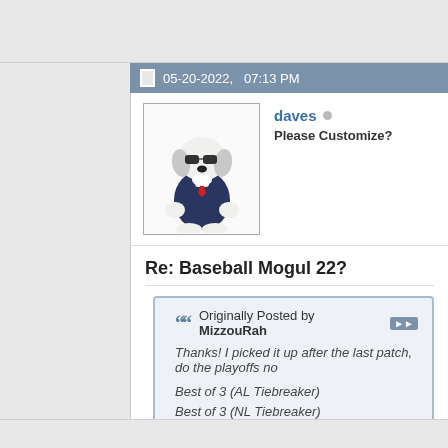05-20-2022,   07:13 PM
[Figure (illustration): Snoopy character dressed as Joe Cool in a suit with sunglasses]
daves
Please Customize?
Re: Baseball Mogul 22?
Originally Posted by MizzouRah
Thanks! I picked it up after the last patch, do the playoffs no
Best of 3 (AL Tiebreaker)
Best of 3 (NL Tiebreaker)
6 Teams (AL Playoff Teams)
6 Teams (NL Playoff Teams)
Best of 3 (Wild Card Round)
Best of 5 (Division Series)
Best of 7 (League Championship)
Best of 7 (World Series)